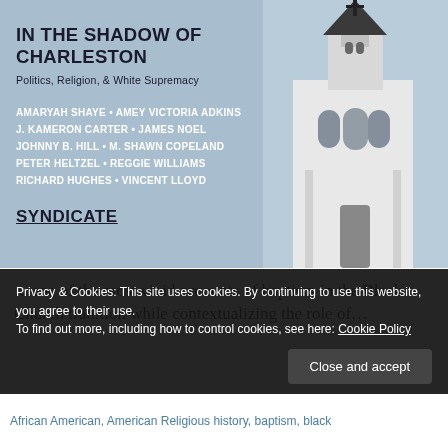[Figure (photo): Book cover for 'In the Shadow of Charleston: Politics, Religion, & White Supremacy' published by Syndicate, showing a light blue background with contributor names and a church steeple photo on the right side.]
…one of the most vivid accounts of baptism in the Black Church tradition while contextualizing the role of…
Privacy & Cookies: This site uses cookies. By continuing to use this website, you agree to their use.
To find out more, including how to control cookies, see here: Cookie Policy
Close and accept
African American, American Religious history, baptism, black